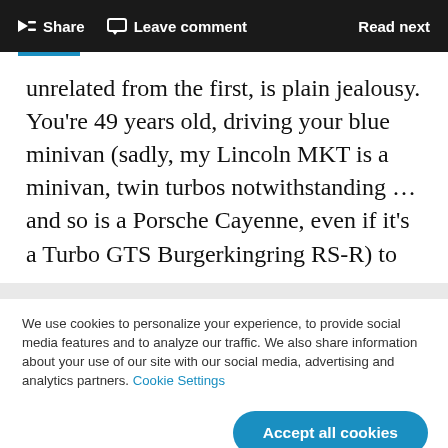Share  Leave comment  Read next
unrelated from the first, is plain jealousy. You’re 49 years old, driving your blue minivan (sadly, my Lincoln MKT is a minivan, twin turbos notwithstanding … and so is a Porsche Cayenne, even if it’s a Turbo GTS Burgerkingring RS-R) to
We use cookies to personalize your experience, to provide social media features and to analyze our traffic. We also share information about your use of our site with our social media, advertising and analytics partners. Cookie Settings
Accept all cookies